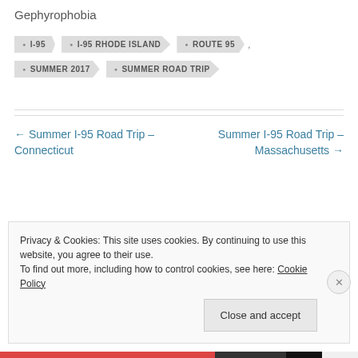Gephyrophobia
I-95
I-95 RHODE ISLAND
ROUTE 95
SUMMER 2017
SUMMER ROAD TRIP
← Summer I-95 Road Trip – Connecticut
Summer I-95 Road Trip – Massachusetts →
Privacy & Cookies: This site uses cookies. By continuing to use this website, you agree to their use.
To find out more, including how to control cookies, see here: Cookie Policy
Close and accept